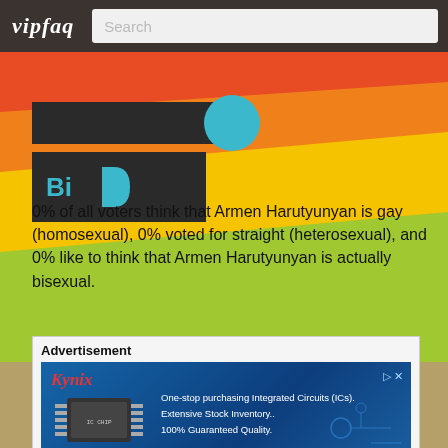vipfaq | Search
[Figure (infographic): Colorful diagonal stripes background in red, orange, yellow, green colors with dark card showing 'Bi' in teal]
0% of all voters think that Armen Harutyunyan is gay (homosexual), 0% voted for straight (heterosexual), and 0% like to think that Armen Harutyunyan is actually bisexual.
[Figure (screenshot): Advertisement box with Kynix branding showing an integrated circuit chip and text: One-stop purchasing Integrated Circuits (ICs). Extensive Stock Inventory.. 100% Guaranteed Quality.]